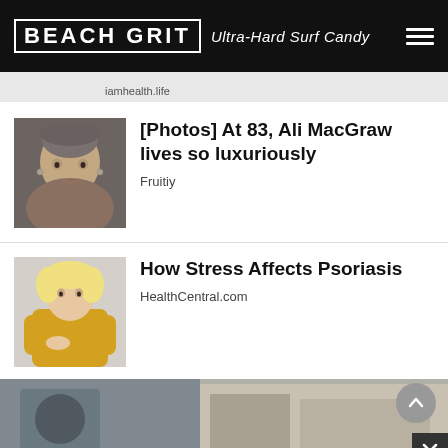BEACH GRIT Ultra-Hard Surf Candy
iamhealth.life
[Photos] At 83, Ali MacGraw lives so luxuriously
Fruitiy
How Stress Affects Psoriasis
HealthCentral.com
[Figure (photo): Partial view of third article image – person in car or outdoor scene]
[Figure (photo): Close-up portrait of an elderly woman with gray hair and earrings (Ali MacGraw article)]
[Figure (photo): Woman in yellow sweater looking at her arm (psoriasis article)]